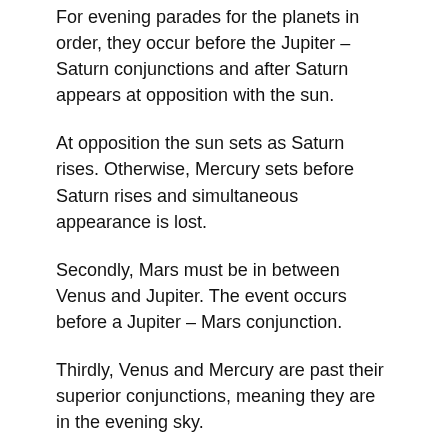For evening parades for the planets in order, they occur before the Jupiter – Saturn conjunctions and after Saturn appears at opposition with the sun.
At opposition the sun sets as Saturn rises. Otherwise, Mercury sets before Saturn rises and simultaneous appearance is lost.
Secondly, Mars must be in between Venus and Jupiter. The event occurs before a Jupiter – Mars conjunction.
Thirdly, Venus and Mercury are past their superior conjunctions, meaning they are in the evening sky.